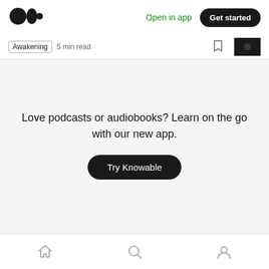[Figure (logo): Medium logo — two overlapping circles]
Open in app
Get started
Awakening   5 min read
Love podcasts or audiobooks? Learn on the go with our new app.
Try Knowable
Recommended from Medium